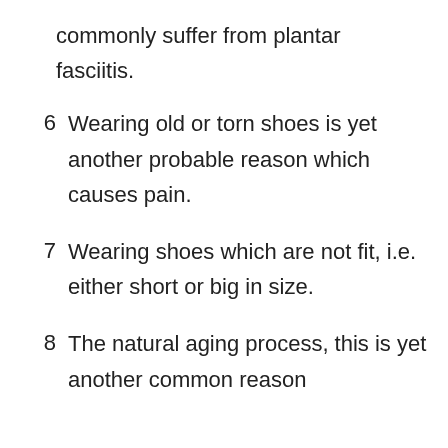commonly suffer from plantar fasciitis.
6  Wearing old or torn shoes is yet another probable reason which causes pain.
7  Wearing shoes which are not fit, i.e. either short or big in size.
8  The natural aging process, this is yet another common reason